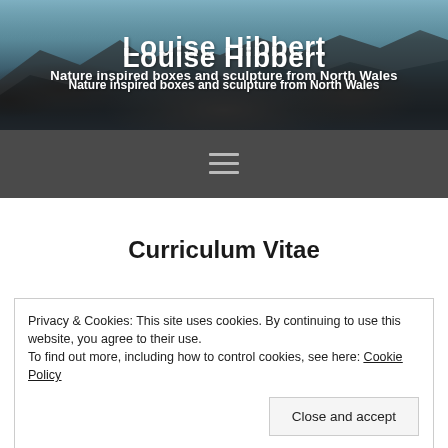[Figure (photo): Grayscale landscape photo of rocky mountain scenery in North Wales used as website header background]
Louise Hibbert
Nature inspired boxes and sculpture from North Wales
[Figure (other): Hamburger menu icon (three horizontal lines) on dark gray navigation bar]
Curriculum Vitae
Privacy & Cookies: This site uses cookies. By continuing to use this website, you agree to their use.
To find out more, including how to control cookies, see here: Cookie Policy
Close and accept